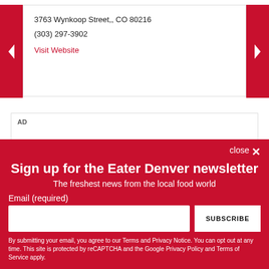3763 Wynkoop Street,, CO 80216
(303) 297-3902
Visit Website
AD
Where Chefs Like to Eat in DC
close ✕
Sign up for the Eater Denver newsletter
The freshest news from the local food world
Email (required)
SUBSCRIBE
By submitting your email, you agree to our Terms and Privacy Notice. You can opt out at any time. This site is protected by reCAPTCHA and the Google Privacy Policy and Terms of Service apply.